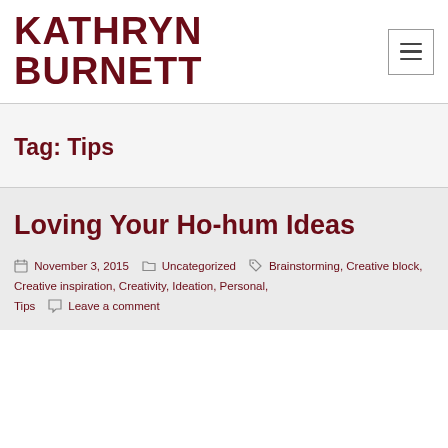KATHRYN BURNETT
Tag: Tips
Loving Your Ho-hum Ideas
November 3, 2015  Uncategorized  Brainstorming, Creative block, Creative inspiration, Creativity, Ideation, Personal, Tips  Leave a comment